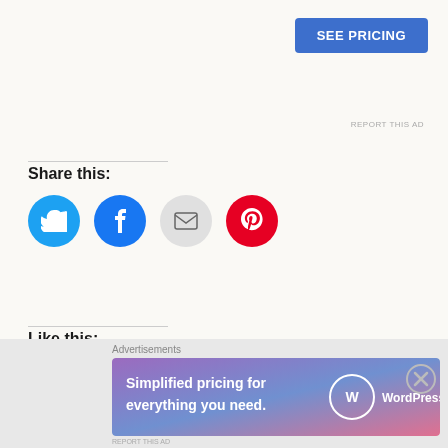[Figure (other): SEE PRICING advertisement button (blue rectangle)]
REPORT THIS AD
Share this:
[Figure (other): Social share icons: Twitter (blue), Facebook (blue), Email (gray), Pinterest (red)]
Like this:
Loading...
collymarples  November 15, 2017  Greece, Uncategorized  culture, Kos
[Figure (other): WordPress.com advertisement banner: 'Simplified pricing for everything you need.']